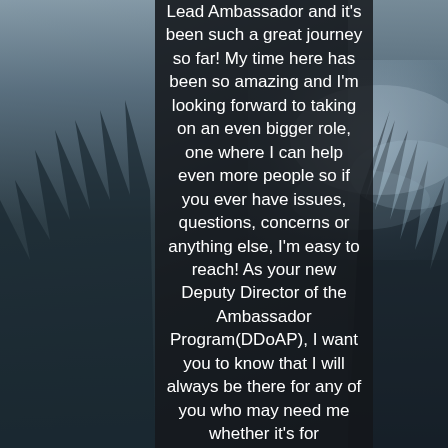[Figure (photo): Moody landscape background with dark forested mountains and misty clouds on a dark grey-blue sky, with a semi-transparent dark overlay panel in the center containing white text.]
Lead Ambassador and it's been such a great journey so far! My time here has been so amazing and I'm looking forward to taking on an even bigger role, one where I can help even more people so if you ever have issues, questions, concerns or anything else, I'm easy to reach! As your new Deputy Director of the Ambassador Program(DDoAP), I want you to know that I will always be there for any of you who may need me whether it's for professional